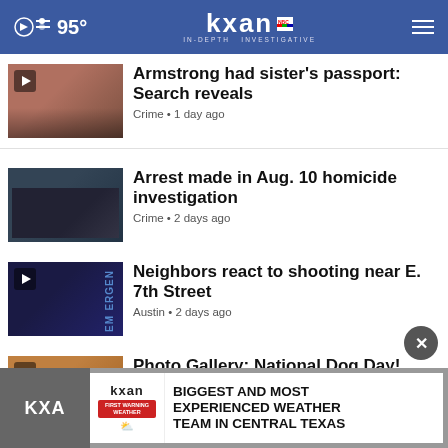95° | KXAN IN-DEPTH INVESTIGATIVE
Armstrong had sister's passport: Search reveals
Crime • 1 day ago
Arrest made in Aug. 10 homicide investigation
Crime • 2 days ago
Neighbors react to shooting near E. 7th Street
Austin • 2 days ago
Photo Gallery: National Dog Day!
Clear the Shelters • 2 days ago
[Figure (infographic): KXAN First Warning Weather advertisement banner: BIGGEST AND MOST EXPERIENCED WEATHER TEAM IN CENTRAL TEXAS]